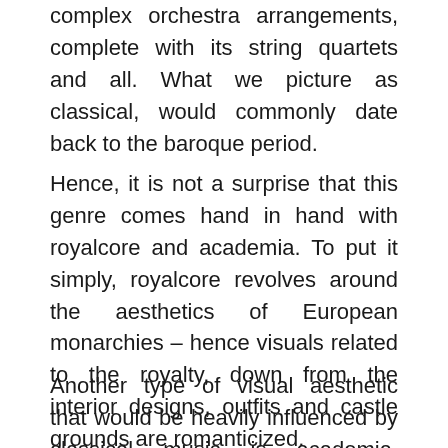complex orchestra arrangements, complete with its string quartets and all. What we picture as classical, would commonly date back to the baroque period.
Hence, it is not a surprise that this genre comes hand in hand with royalcore and academia. To put it simply, royalcore revolves around the aesthetics of European monarchies – hence visuals related to the royalty, down from the interior designs, outfits and castle grounds are romanticized.
Another type of visual aesthetic that would be heavily influenced by classical music is academia. Academia, at its base is an aesthetic that focuses on learning and in